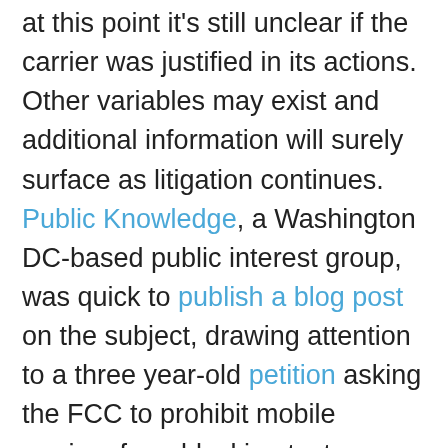at this point it's still unclear if the carrier was justified in its actions.  Other variables may exist and additional information will surely surface as litigation continues.  Public Knowledge, a Washington DC-based public interest group, was quick to publish a blog post on the subject, drawing attention to a three year-old petition asking the FCC to prohibit mobile carriers from blocking text messages.
In the post, Gigi B. Sohn, president and co-founder of Public Knowledge, said: “This case is yet another example of a totally arbitrary decision by a carrier to block text message calls between consumers and organizations they want to communicate with.  The FCC should